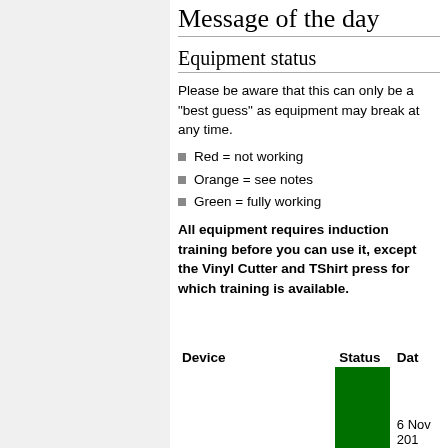Message of the day
Equipment status
Please be aware that this can only be a "best guess" as equipment may break at any time.
Red = not working
Orange = see notes
Green = fully working
All equipment requires induction training before you can use it, except the Vinyl Cutter and TShirt press for which training is available.
| Device | Status | Date |
| --- | --- | --- |
| LaserCutter 1 | (green) | 6 Nov 2015 |